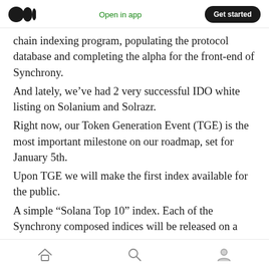Open in app | Get started
chain indexing program, populating the protocol database and completing the alpha for the front-end of Synchrony.
And lately, we've had 2 very successful IDO white listing on Solanium and Solrazr.
Right now, our Token Generation Event (TGE) is the most important milestone on our roadmap, set for January 5th.
Upon TGE we will make the first index available for the public.
A simple “Solana Top 10” index. Each of the Synchrony composed indices will be released on a
Home | Search | Profile